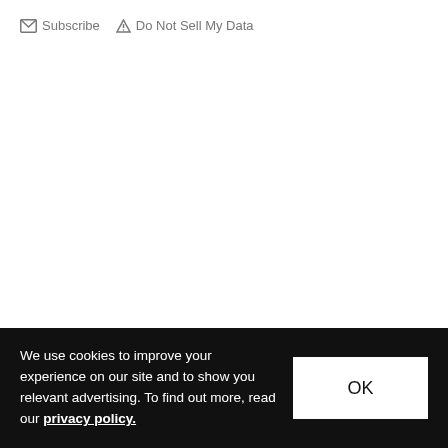Subscribe  Do Not Sell My Data
What To Read Next
We use cookies to improve your experience on our site and to show you relevant advertising. To find out more, read our privacy policy.